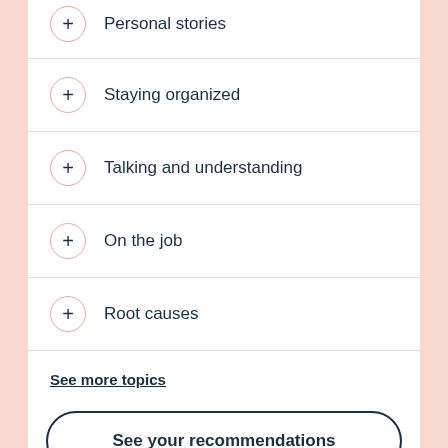Personal stories
Staying organized
Talking and understanding
On the job
Root causes
See more topics
See your recommendations